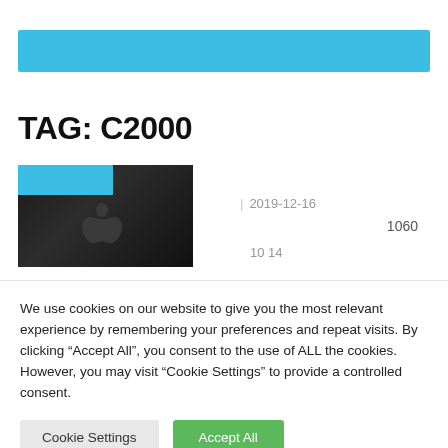[Figure (other): Solid sky-blue horizontal banner bar at top of page]
TAG: C2000
[Figure (photo): Dark thumbnail image of a Mac computer with Apple logo, with blue overlay strip in top-left corner]
| 2019-12-16
1060
10 14
We use cookies on our website to give you the most relevant experience by remembering your preferences and repeat visits. By clicking “Accept All”, you consent to the use of ALL the cookies. However, you may visit "Cookie Settings" to provide a controlled consent.
Cookie Settings
Accept All